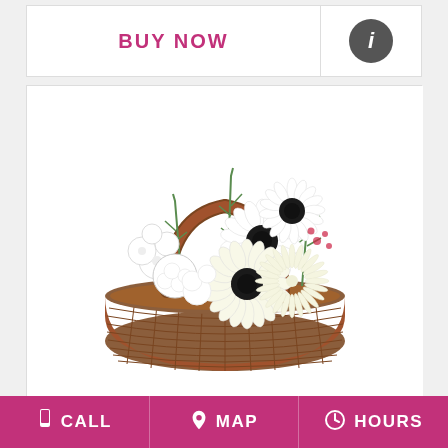BUY NOW
[Figure (illustration): Wicker basket flower arrangement with white gerbera daisies, white chrysanthemums, white stock flowers, and green foliage]
PRISTINE WHITE BASKET   $65.00
SAME DAY DELIVERY!
CALL   MAP   HOURS